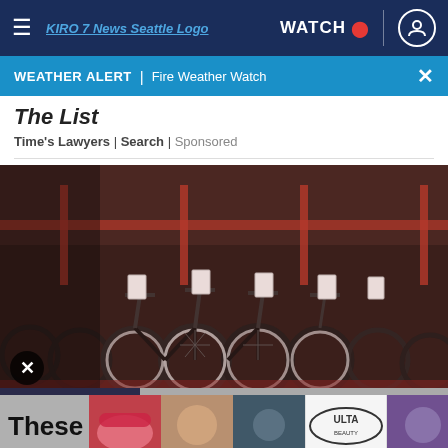≡  KIRO 7 News Seattle Logo  WATCH 🔴  👤
WEATHER ALERT | Fire Weather Watch
The List
Time's Lawyers | Search | Sponsored
[Figure (photo): Large warehouse filled with rows of black bicycles/e-bikes with price tags hanging from handlebars, stored on a red metal shelving rack in the background]
These ... Nearly